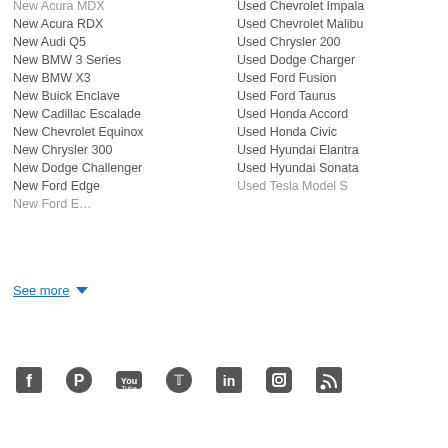New Acura MDX
New Acura RDX
New Audi Q5
New BMW 3 Series
New BMW X3
New Buick Enclave
New Cadillac Escalade
New Chevrolet Equinox
New Chrysler 300
New Dodge Challenger
New Ford Edge
New Ford E…
Used Chevrolet Impala
Used Chevrolet Malibu
Used Chrysler 200
Used Dodge Charger
Used Ford Fusion
Used Ford Taurus
Used Honda Accord
Used Honda Civic
Used Hyundai Elantra
Used Hyundai Sonata
Used Tesla Model S
See more
[Figure (infographic): Social media icons: Facebook, Pinterest, YouTube, Twitter, LinkedIn, Instagram, RSS]